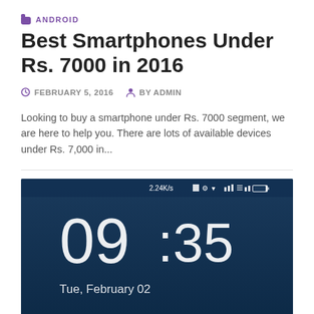ANDROID
Best Smartphones Under Rs. 7000 in 2016
FEBRUARY 5, 2016   BY ADMIN
Looking to buy a smartphone under Rs. 7000 segment, we are here to help you. There are lots of available devices under Rs. 7,000 in...
[Figure (screenshot): Android smartphone lock screen showing time 09:35 and date Tue, February 02, with dark blue gradient background and status bar showing 2.24K/s and various icons]